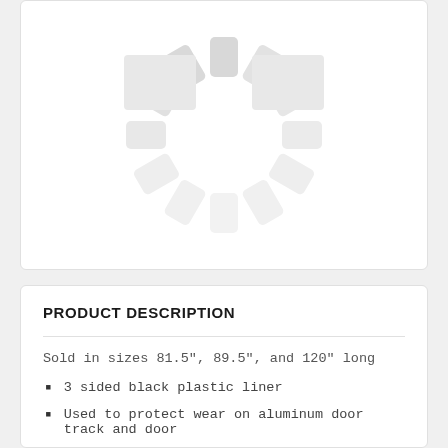[Figure (illustration): Loading spinner / placeholder image with light gray radial segments arranged in a circular pattern, on a white card background]
PRODUCT DESCRIPTION
Sold in sizes 81.5", 89.5", and 120" long
3 sided black plastic liner
Used to protect wear on aluminum door track and door